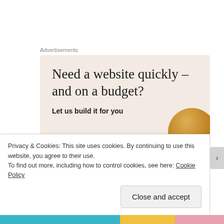Advertisements
[Figure (illustration): Advertisement banner with beige background. Headline: 'Need a website quickly – and on a budget?' Subtext: 'Let us build it for you'. Decorative gold/brown bowl partially visible at right edge.]
Did you go to Taste of London this year? What was the absolute best thing you tried? Leave the dish and restaurant in the comments or tweet me!
Privacy & Cookies: This site uses cookies. By continuing to use this website, you agree to their use.
To find out more, including how to control cookies, see here: Cookie Policy
Close and accept